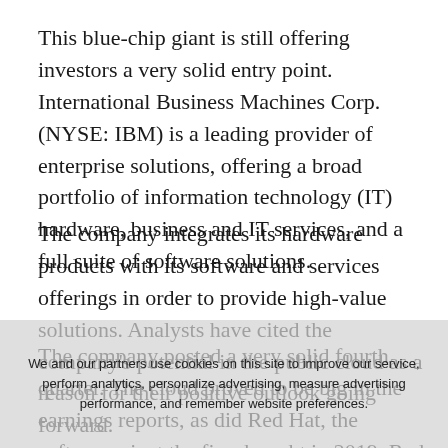This blue-chip giant is still offering investors a very solid entry point. International Business Machines Corp. (NYSE: IBM) is a leading provider of enterprise solutions, offering a broad portfolio of information technology (IT) hardware, business and IT services, and a full suite of software solutions.
The company integrates its hardware products with its software and services offerings in order to provide high-value solutions. Analysts have cited the company's potential in the public cloud as a reason for their positive outlook going forward.
The company posted a very solid fourth quarter. The cloud proved to be big in the earnings reports, as did Red Hat, the software giant the firm bought in 2019. Red Hat's open hybrid cloud technologies are now paired with the unmatched scale and depth of IBM's innovation
We and our partners use cookies on this site to improve our service, perform analytics, personalize advertising, measure advertising performance, and remember website preferences.